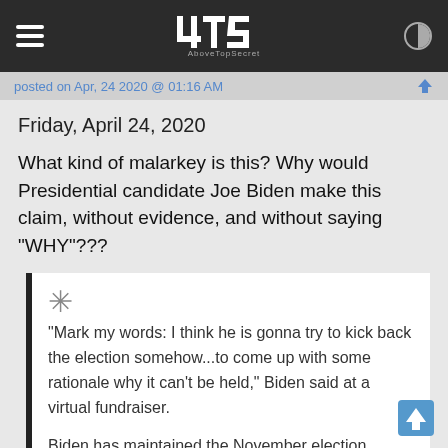4TS AboveTopSecret
posted on Apr, 24 2020 @ 01:16 AM
Friday, April 24, 2020
What kind of malarkey is this? Why would Presidential candidate Joe Biden make this claim, without evidence, and without saying "WHY"???
"Mark my words: I think he is gonna try to kick back the election somehow...to come up with some rationale why it can't be held," Biden said at a virtual fundraiser.

Biden has maintained the November election should not be postponed, and has previously made similar comments.

Fears over the CoronaVirus and its spread, have increased concerns over how the election will be held safely, with new calls to expand access to voting and voting by mail.